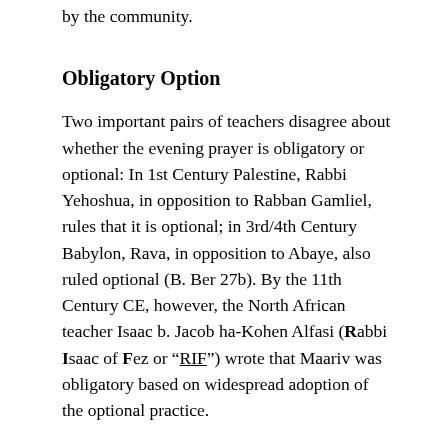by the community.
Obligatory Option
Two important pairs of teachers disagree about whether the evening prayer is obligatory or optional: In 1st Century Palestine, Rabbi Yehoshua, in opposition to Rabban Gamliel, rules that it is optional; in 3rd/4th Century Babylon, Rava, in opposition to Abaye, also ruled optional (B. Ber 27b). By the 11th Century CE, however, the North African teacher Isaac b. Jacob ha-Kohen Alfasi (Rabbi Isaac of Fez or “RIF”) wrote that Maariv was obligatory based on widespread adoption of the optional practice.
Rabbanit Michelle Cohen Farber, of Hadran, explains this as a “hazakah,” something the